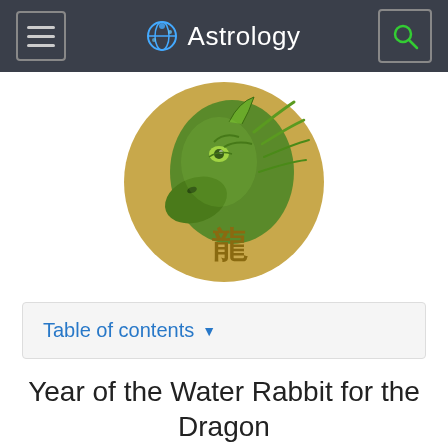Astrology
[Figure (illustration): Green dragon head illustration inside a round golden/tan circle with Chinese character 龍 (dragon)]
Table of contents ▾
Year of the Water Rabbit for the Dragon
Dragons are waiting for a difficult, but very interesting and productive time. In the year of the Rabbit, the wards of the sign will have to pacify their active nature, otherwise unpleasant failures in their careers and personal lives